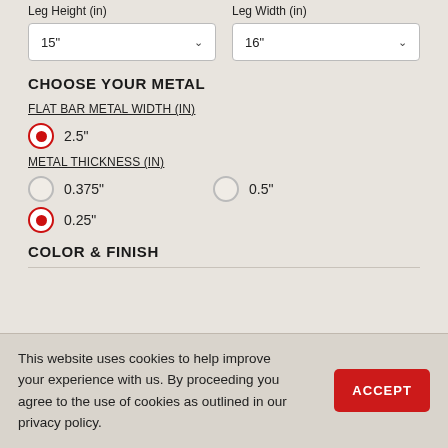Leg Height (in)
Leg Width (in)
15"
16"
CHOOSE YOUR METAL
FLAT BAR METAL WIDTH (IN)
2.5" (selected)
METAL THICKNESS (IN)
0.375"
0.5"
0.25" (selected)
COLOR & FINISH
This website uses cookies to help improve your experience with us. By proceeding you agree to the use of cookies as outlined in our privacy policy.